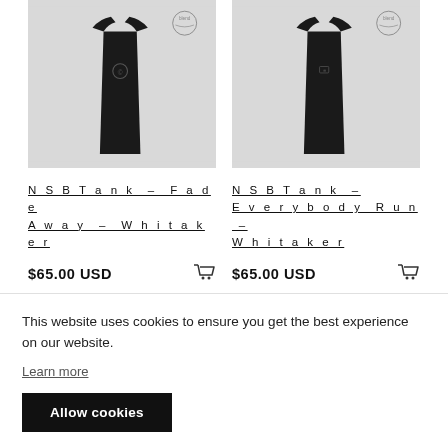[Figure (photo): Black tank top on grey background, left column, with 'blend' circular logo watermark top right]
[Figure (photo): Black tank top on grey background, right column, with 'blend' circular logo watermark top right]
NSBTank – Fade Away – Whitaker
$65.00 USD
NSBTank – Everybody Run – Whitaker
$65.00 USD
[Figure (photo): Black cap/hat on grey background, partial view, bottom left]
[Figure (photo): Partial product image bottom right]
This website uses cookies to ensure you get the best experience on our website.
Learn more
Allow cookies